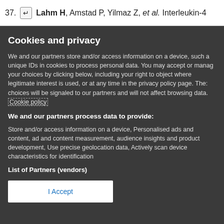37. ↵ Lahm H, Amstad P, Yilmaz Z, et al. Interleukin-4
Cookies and privacy
We and our partners store and/or access information on a device, such as unique IDs in cookies to process personal data. You may accept or manage your choices by clicking below, including your right to object where legitimate interest is used, or at any time in the privacy policy page. These choices will be signaled to our partners and will not affect browsing data. Cookie policy
We and our partners process data to provide:
Store and/or access information on a device, Personalised ads and content, ad and content measurement, audience insights and product development, Use precise geolocation data, Actively scan device characteristics for identification
List of Partners (vendors)
I Accept